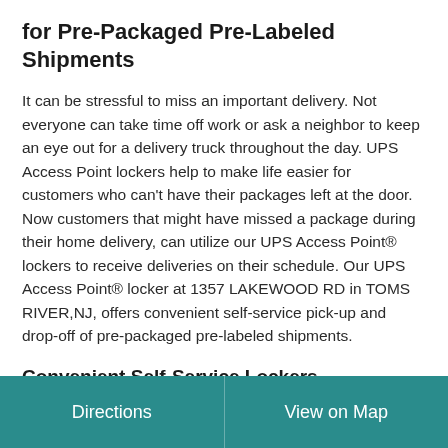for Pre-Packaged Pre-Labeled Shipments
It can be stressful to miss an important delivery. Not everyone can take time off work or ask a neighbor to keep an eye out for a delivery truck throughout the day. UPS Access Point lockers help to make life easier for customers who can't have their packages left at the door. Now customers that might have missed a package during their home delivery, can utilize our UPS Access Point® lockers to receive deliveries on their schedule. Our UPS Access Point® locker at 1357 LAKEWOOD RD in TOMS RIVER,NJ, offers convenient self-service pick-up and drop-off of pre-packaged pre-labeled shipments.
Convenient Self-Service Lockers
UPS Access Point® lockers help you get a fast and secure
Directions    View on Map